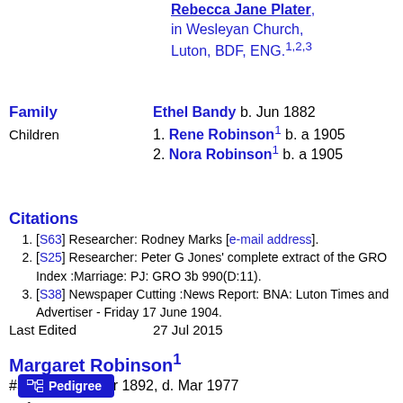Rebecca Jane Plater, in Wesleyan Church, Luton, BDF, ENG.1,2,3
Family   Ethel Bandy b. Jun 1882
Children 1. Rene Robinson1 b. a 1905
2. Nora Robinson1 b. a 1905
Citations
1. [S63] Researcher: Rodney Marks [e-mail address].
2. [S25] Researcher: Peter G Jones' complete extract of the GRO Index :Marriage: PJ: GRO 3b 990(D:11).
3. [S38] Newspaper Cutting :News Report: BNA: Luton Times and Advertiser - Friday 17 June 1904.
Last Edited   27 Jul 2015
Margaret Robinson1
#3745, b. 27 Mar 1892, d. Mar 1977
Reference   D1337-S1